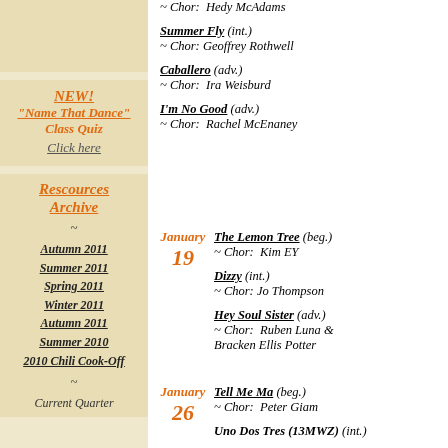[Figure (other): Beige/tan decorative box at top of left column]
NEW! "Name That Dance" Class Quiz Click here
Rescources Archive
~
Autumn 2011
Summer 2011
Spring 2011
Winter 2011
Autumn 2011
Summer 2010
2010 Chili Cook-Off
~
Current Quarter
~ Chor: Hedy McAdams
Summer Fly (int.) ~ Chor: Geoffrey Rothwell
Caballero (adv.) ~ Chor: Ira Weisburd
I'm No Good (adv.) ~ Chor: Rachel McEnaney
January 19 — The Lemon Tree (beg.) ~ Chor: Kim EY
Dizzy (int.) ~ Chor: Jo Thompson
Hey Soul Sister (adv.) ~ Chor: Ruben Luna & Bracken Ellis Potter
January 26 — Tell Me Ma (beg.) ~ Chor: Peter Giam
Uno Dos Tres (13MWZ) (int.)